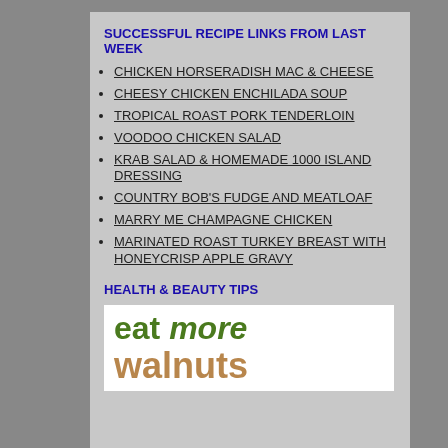SUCCESSFUL RECIPE LINKS FROM LAST WEEK
CHICKEN HORSERADISH MAC & CHEESE
CHEESY CHICKEN ENCHILADA SOUP
TROPICAL ROAST PORK TENDERLOIN
VOODOO CHICKEN SALAD
KRAB SALAD & HOMEMADE 1000 ISLAND DRESSING
COUNTRY BOB'S FUDGE AND MEATLOAF
MARRY ME CHAMPAGNE CHICKEN
MARINATED ROAST TURKEY BREAST with HONEYCRISP APPLE GRAVY
HEALTH & BEAUTY TIPS
[Figure (illustration): Eat more walnuts logo text in green and tan colors on white background]